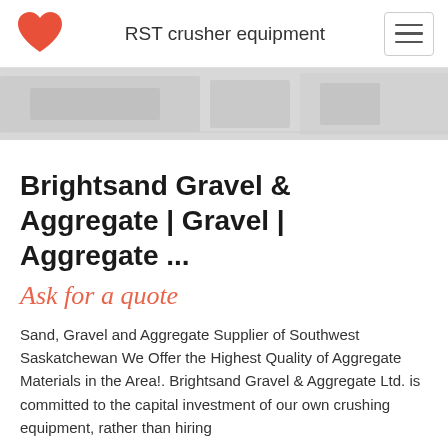RST crusher equipment
[Figure (photo): Grayscale hero banner image of crusher/aggregate equipment machinery]
Brightsand Gravel & Aggregate | Gravel | Aggregate ...
Ask for a quote
Sand, Gravel and Aggregate Supplier of Southwest Saskatchewan We Offer the Highest Quality of Aggregate Materials in the Area!. Brightsand Gravel & Aggregate Ltd. is committed to the capital investment of our own crushing equipment, rather than hiring contractors, thereby maintaining better quality. Brightsand G...